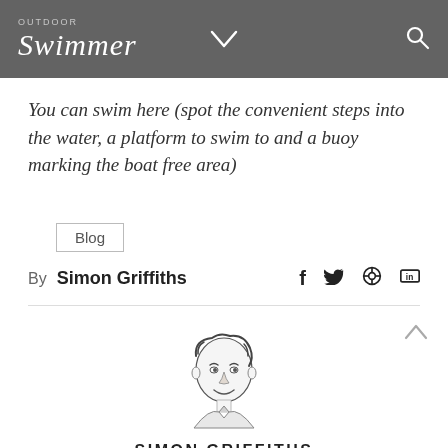OUTDOOR Swimmer
You can swim here (spot the convenient steps into the water, a platform to swim to and a buoy marking the boat free area)
Blog
By Simon Griffiths
[Figure (illustration): Hand-drawn illustration portrait of Simon Griffiths, a man with curly hair and a slight smile, wearing a collared shirt.]
SIMON GRIFFITHS
I created Outdoor Swimmer in 2011 (initially as H2Open